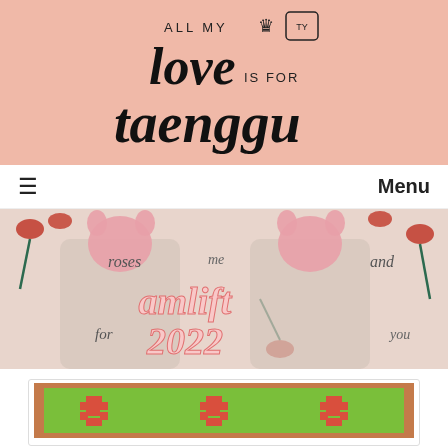[Figure (logo): Blog logo: 'ALL MY love IS FOR taenggu' with crown and hand sign icon, on a salmon/peach background]
≡  Menu
[Figure (photo): Banner photo showing two women wearing pink cat-ear beanies holding roses, with text overlay reading 'roses me and for amlift 2022 you']
[Figure (photo): Card image showing green background with red pixel-art flower/star shapes]